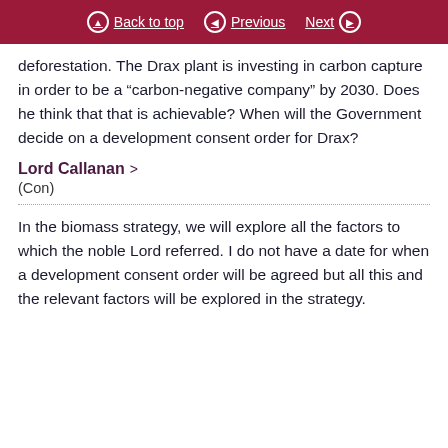Back to top  Previous  Next
deforestation. The Drax plant is investing in carbon capture in order to be a “carbon-negative company” by 2030. Does he think that that is achievable? When will the Government decide on a development consent order for Drax?
Lord Callanan > 
(Con)
In the biomass strategy, we will explore all the factors to which the noble Lord referred. I do not have a date for when a development consent order will be agreed but all this and the relevant factors will be explored in the strategy.